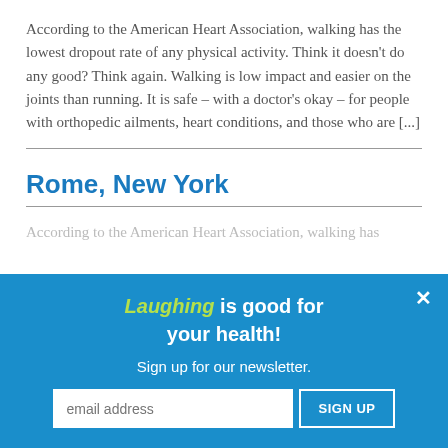According to the American Heart Association, walking has the lowest dropout rate of any physical activity. Think it doesn't do any good? Think again. Walking is low impact and easier on the joints than running. It is safe – with a doctor's okay – for people with orthopedic ailments, heart conditions, and those who are [...]
Rome, New York
According to the American Heart Association, walking has
[Figure (other): Popup overlay with blue background containing newsletter sign-up form. Text reads: 'Laughing is good for your health! Sign up for our newsletter.' with an email address input field and SIGN UP button. Close button (×) in top right corner.]